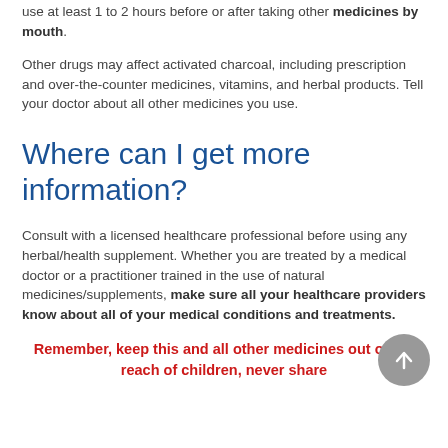use at least 1 to 2 hours before or after taking other medicines by mouth.
Other drugs may affect activated charcoal, including prescription and over-the-counter medicines, vitamins, and herbal products. Tell your doctor about all other medicines you use.
Where can I get more information?
Consult with a licensed healthcare professional before using any herbal/health supplement. Whether you are treated by a medical doctor or a practitioner trained in the use of natural medicines/supplements, make sure all your healthcare providers know about all of your medical conditions and treatments.
Remember, keep this and all other medicines out of the reach of children, never share